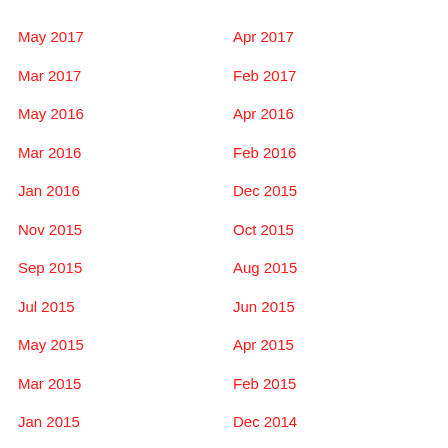May 2017
Apr 2017
Mar 2017
Feb 2017
May 2016
Apr 2016
Mar 2016
Feb 2016
Jan 2016
Dec 2015
Nov 2015
Oct 2015
Sep 2015
Aug 2015
Jul 2015
Jun 2015
May 2015
Apr 2015
Mar 2015
Feb 2015
Jan 2015
Dec 2014
Nov 2014
Oct 2014
Sep 2014
Aug 2014
Jul 2014
Jun 2014
May 2014
Apr 2014